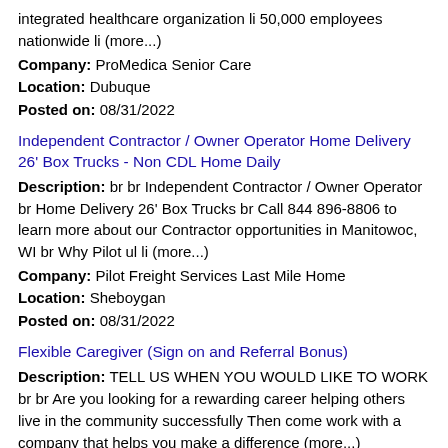integrated healthcare organization li 50,000 employees nationwide li (more...)
Company: ProMedica Senior Care
Location: Dubuque
Posted on: 08/31/2022
Independent Contractor / Owner Operator Home Delivery 26' Box Trucks - Non CDL Home Daily
Description: br br Independent Contractor / Owner Operator br Home Delivery 26' Box Trucks br Call 844 896-8806 to learn more about our Contractor opportunities in Manitowoc, WI br Why Pilot ul li (more...)
Company: Pilot Freight Services Last Mile Home
Location: Sheboygan
Posted on: 08/31/2022
Flexible Caregiver (Sign on and Referral Bonus)
Description: TELL US WHEN YOU WOULD LIKE TO WORK br br Are you looking for a rewarding career helping others live in the community successfully Then come work with a company that helps you make a difference (more...)
Company: Vista Care
Location: Sheboygan
Posted on: 08/31/2022